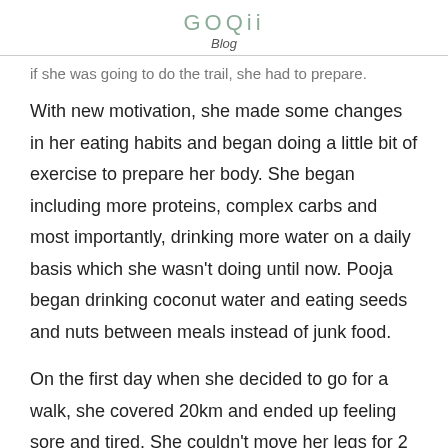GOQii Blog
if she was going to do the trail, she had to prepare.
With new motivation, she made some changes in her eating habits and began doing a little bit of exercise to prepare her body. She began including more proteins, complex carbs and most importantly, drinking more water on a daily basis which she wasn't doing until now. Pooja began drinking coconut water and eating seeds and nuts between meals instead of junk food.
On the first day when she decided to go for a walk, she covered 20km and ended up feeling sore and tired. She couldn't move her legs for 2 days. She